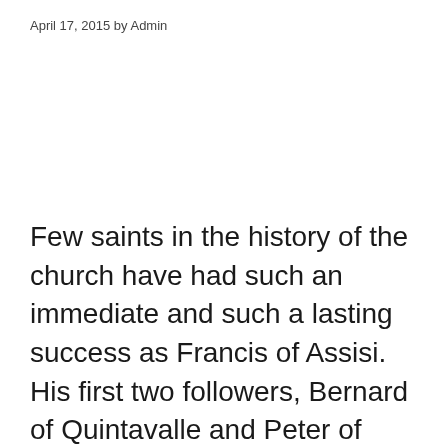April 17, 2015 by Admin
Few saints in the history of the church have had such an immediate and such a lasting success as Francis of Assisi. His first two followers, Bernard of Quintavalle and Peter of Catani, joined him in 1208, yet by 1222, three, if not five, thousand men are said to have assembled together for a Convocation. And in our own time the